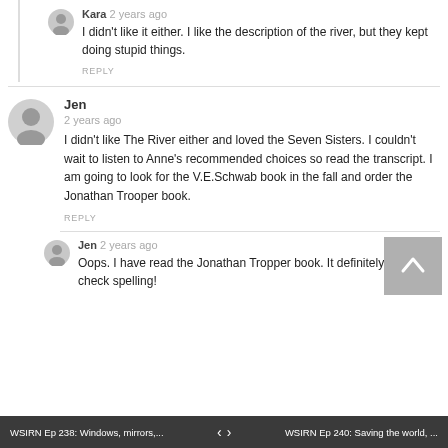Kara 2 years ago
I didn't like it either. I like the description of the river, but they kept doing stupid things.
REPLY
Jen 2 years ago
I didn't like The River either and loved the Seven Sisters. I couldn't wait to listen to Anne's recommended choices so read the transcript. I am going to look for the V.E.Schwab book in the fall and order the Jonathan Trooper book.
REPLY
Jen 2 years ago
Oops. I have read the Jonathan Tropper book. It definitely helps to check spelling!
WSIRN Ep 238: Windows, mirrors,... < > WSIRN Ep 240: Saving the world, ...